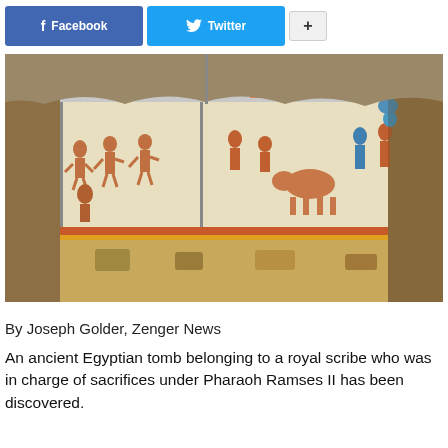[Figure (other): Social share buttons: Facebook, Twitter, and a plus/more button]
[Figure (photo): Interior of an ancient Egyptian tomb showing colorful wall paintings with human figures, animals, and hieroglyphic scenes. Two people visible at the top of the excavation looking down.]
By Joseph Golder, Zenger News
An ancient Egyptian tomb belonging to a royal scribe who was in charge of sacrifices under Pharaoh Ramses II has been discovered.